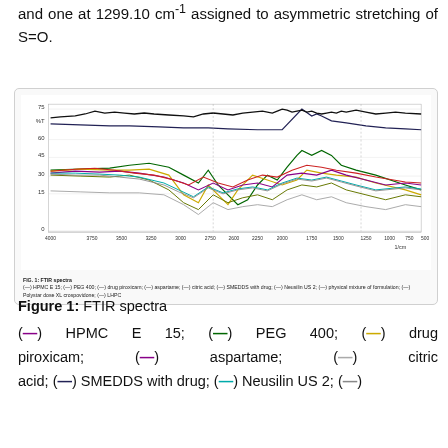and one at 1299.10 cm⁻¹ assigned to asymmetric stretching of S=O.
[Figure (continuous-plot): FTIR spectra showing multiple overlapping spectral lines for HPMC E 15, PEG 400, drug piroxicam, aspartame, citric acid, SMEDDS with drug, Neusilin US 2, physical mixture of formulation, Polystar dose XL crospovidone, and LHPC. X-axis ranges from approximately 4000 to 500 1/cm. Y-axis ranges from 0 to 75 %T.]
Figure 1: FTIR spectra
(—) HPMC E 15; (—) PEG 400; (—) drug piroxicam; (—) aspartame; (—) citric acid; (—) SMEDDS with drug; (—) Neusilin US 2; (—)